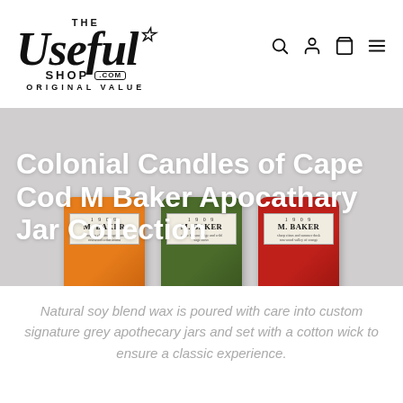[Figure (logo): The Useful Shop .com — Original Value logo with stylized italic script font and star mark]
[Figure (photo): Three Colonial Candles of Cape Cod M Baker Apocathary Jar Collection candles in orange, green, and red apothecary jars displayed side by side on a light grey surface]
Colonial Candles of Cape Cod M Baker Apocathary Jar Collection
Natural soy blend wax is poured with care into custom signature grey apothecary jars and set with a cotton wick to ensure a classic experience.